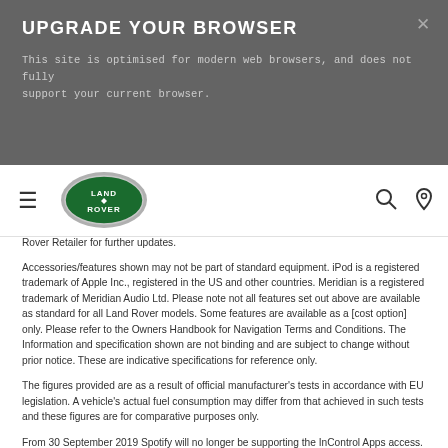UPGRADE YOUR BROWSER
This site is optimised for modern web browsers, and does not fully support your current browser.
[Figure (logo): Land Rover oval green logo]
Rover Retailer for further updates.
Accessories/features shown may not be part of standard equipment. iPod is a registered trademark of Apple Inc., registered in the US and other countries. Meridian is a registered trademark of Meridian Audio Ltd. Please note not all features set out above are available as standard for all Land Rover models. Some features are available as a [cost option] only. Please refer to the Owners Handbook for Navigation Terms and Conditions. The Information and specification shown are not binding and are subject to change without prior notice. These are indicative specifications for reference only.
The figures provided are as a result of official manufacturer's tests in accordance with EU legislation. A vehicle's actual fuel consumption may differ from that achieved in such tests and these figures are for comparative purposes only.
From 30 September 2019 Spotify will no longer be supporting the InControl Apps access. As the dominant preferred access by customers it will be available to customers via Smartphone Pack where installed.